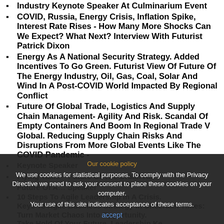Industry Keynote Speaker At Culminarium Event
COVID, Russia, Energy Crisis, Inflation Spike, Interest Rate Rises - How Many More Shocks Can We Expect? What Next? Interview With Futurist Patrick Dixon
Energy As A National Security Strategy. Added Incentives To Go Green. Futurist View Of Future Of The Energy Industry, Oil, Gas, Coal, Solar And Wind In A Post-COVID World Impacted By Regional Conflict
Future Of Global Trade, Logistics And Supply Chain Management- Agility And Risk. Scandal Of Empty Containers And Boom In Regional Trade V Global. Reducing Supply Chain Risks And Disruptions From More Global Events Like The COVID Pandemic - Keynote Speaker
Flying Taxis – Future Of The Urban Air Future Of A... Speaker
10 Steps To Agile Leadership In A Crisis. Keys To Agile Business Strategy In Uncertain Times: Turn Market Chaos Into Opportunity. Take Hold Of Your Future. Leadership Keynote
Our cookie policy
We use cookies for statistical purposes. To comply with the Privacy Directive we need to ask your consent to place these cookies on your computer.
Your use of this site indicates acceptance of these terms.
accept